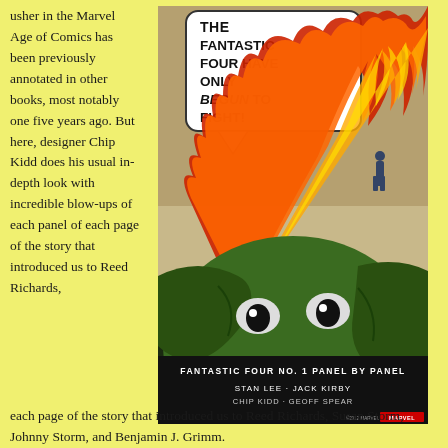usher in the Marvel Age of Comics has been previously annotated in other books, most notably one five years ago. But here, designer Chip Kidd does his usual in-depth look with incredible blow-ups of each panel of each page of the story that introduced us to Reed Richards, Susan Storm, Johnny Storm, and Benjamin J. Grimm.
[Figure (illustration): Book cover of 'Fantastic Four No. 1 Panel by Panel' by Stan Lee, Jack Kirby, Chip Kidd, Geoff Spear. Shows a dramatic comic panel with a large green monster/creature, a flame trail, and a speech bubble reading 'THE FANTASTIC FOUR HAVE ONLY BEGUN TO FIGHT!']